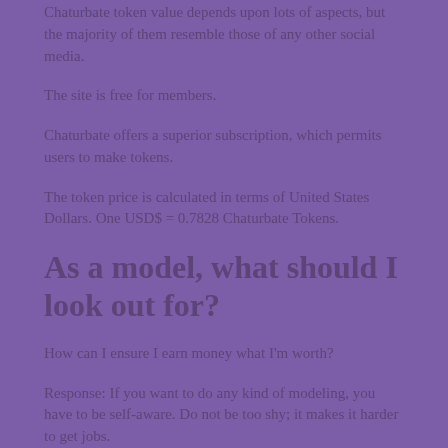Chaturbate token value depends upon lots of aspects, but the majority of them resemble those of any other social media.
The site is free for members.
Chaturbate offers a superior subscription, which permits users to make tokens.
The token price is calculated in terms of United States Dollars. One USD$ = 0.7828 Chaturbate Tokens.
As a model, what should I look out for?
How can I ensure I earn money what I'm worth?
Response: If you want to do any kind of modeling, you have to be self-aware. Do not be too shy; it makes it harder to get jobs.